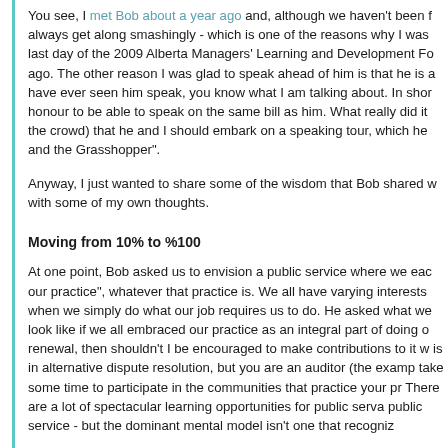You see, I met Bob about a year ago and, although we haven't been always get along smashingly - which is one of the reasons why I was last day of the 2009 Alberta Managers' Learning and Development Fo ago. The other reason I was glad to speak ahead of him is that he is have ever seen him speak, you know what I am talking about. In sho honour to be able to speak on the same bill as him. What really did i the crowd) that he and I should embark on a speaking tour, which he and the Grasshopper".
Anyway, I just wanted to share some of the wisdom that Bob shared with some of my own thoughts.
Moving from 10% to %100
At one point, Bob asked us to envision a public service where we ea our practice", whatever that practice is. We all have varying interests when we simply do what our job requires us to do. He asked what we look like if we all embraced our practice as an integral part of doing renewal, then shouldn't I be encouraged to make contributions to it w is in alternative dispute resolution, but you are an auditor (the exam take some time to participate in the communities that practice your p There are a lot of spectacular learning opportunities for public serva public service - but the dominant mental model isn't one that recogni